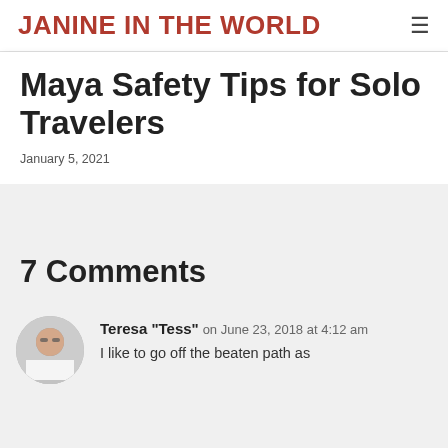JANINE IN THE WORLD
Maya Safety Tips for Solo Travelers
January 5, 2021
7 Comments
Teresa "Tess" on June 23, 2018 at 4:12 am
I like to go off the beaten path as